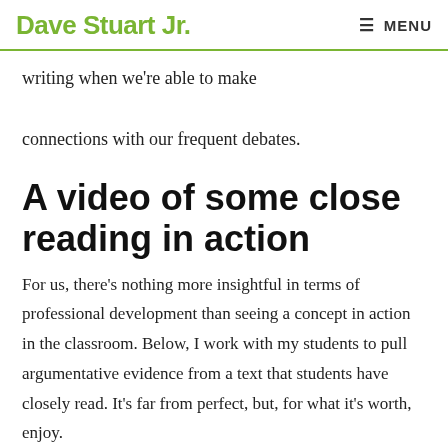Dave Stuart Jr.   MENU
writing when we're able to make connections with our frequent debates.
A video of some close reading in action
For us, there's nothing more insightful in terms of professional development than seeing a concept in action in the classroom. Below, I work with my students to pull argumentative evidence from a text that students have closely read. It's far from perfect, but, for what it's worth, enjoy.